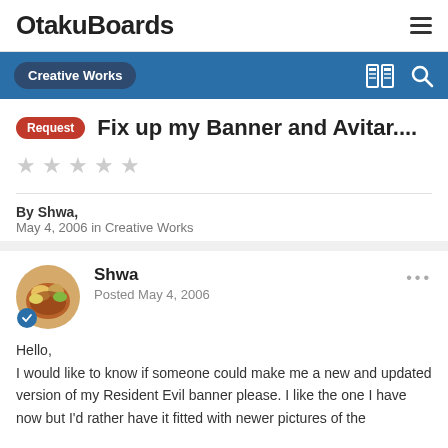OtakuBoards
Creative Works
Fix up my Banner and Avitar....
By Shwa,
May 4, 2006 in Creative Works
Shwa
Posted May 4, 2006
Hello,
I would like to know if someone could make me a new and updated version of my Resident Evil banner please. I like the one I have now but I'd rather have it fitted with newer pictures of the